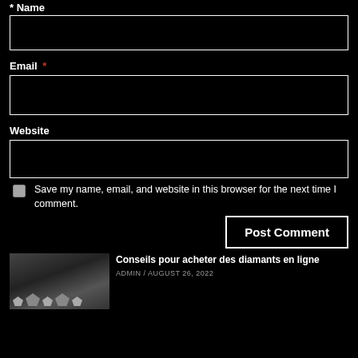Name *
[Figure (other): Empty Name input field (black background, white border)]
Email *
[Figure (other): Empty Email input field (black background, white border)]
Website
[Figure (other): Empty Website input field (black background, white border)]
Save my name, email, and website in this browser for the next time I comment.
Post Comment
[Figure (photo): Thumbnail photo of diamonds/gemstones on dark background]
Conseils pour acheter des diamants en ligne
ADMIN / AUGUST 26, 2022